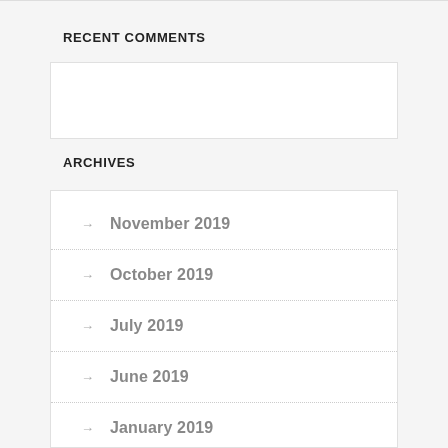RECENT COMMENTS
ARCHIVES
November 2019
October 2019
July 2019
June 2019
January 2019
December 2018